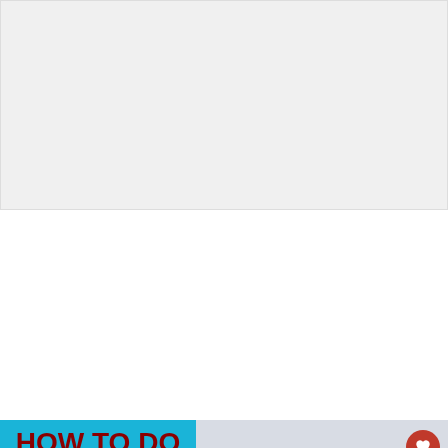[Figure (photo): White/light gray blank advertisement or placeholder area at top of page]
[Figure (screenshot): YouTube video thumbnail showing 'HOW TO DO DOUBLE CRUNCHES CORRECTLY' with blue panel on left containing red bold text, and right side showing a person performing double crunches on a blue mat with a YouTube play button overlay. A 'WHAT'S NEXT' bar shows 'Seal Row Exercise...' at bottom right with heart and share icons on right side.]